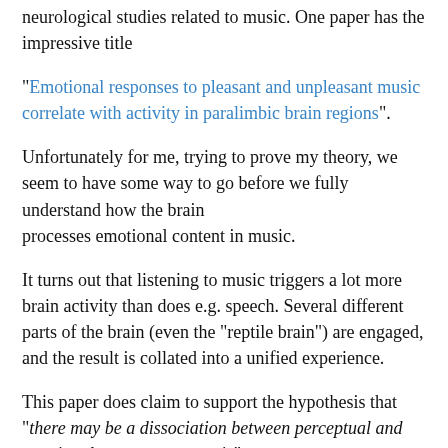neurological studies related to music. One paper has the impressive title
"Emotional responses to pleasant and unpleasant music correlate with activity in paralimbic brain regions".
Unfortunately for me, trying to prove my theory, we seem to have some way to go before we fully understand how the brain processes emotional content in music.
It turns out that listening to music triggers a lot more brain activity than does e.g. speech. Several different parts of the brain (even the "reptile brain") are engaged, and the result is collated into a unified experience.
This paper does claim to support the hypothesis that "there may be a dissociation between perceptual and emotional responses to music".
Furthermore, the paper states that "it is possible that music that induces different types of emotions would recruit